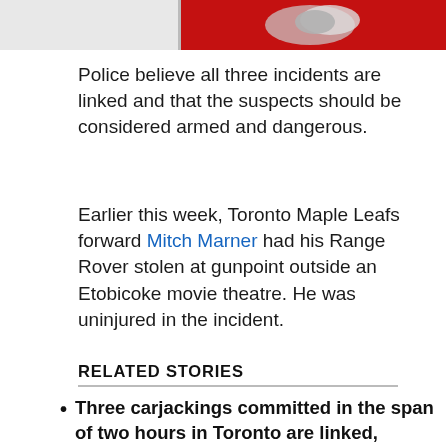[Figure (photo): Partial view of a news article header image — appears to show a vehicle-related photo with red background, cropped at top of page]
Police believe all three incidents are linked and that the suspects should be considered armed and dangerous.
Earlier this week, Toronto Maple Leafs forward Mitch Marner had his Range Rover stolen at gunpoint outside an Etobicoke movie theatre. He was uninjured in the incident.
RELATED STORIES
Three carjackings committed in the span of two hours in Toronto are linked, police say
One person arrested after Lamborghini stolen during Toronto home invasion